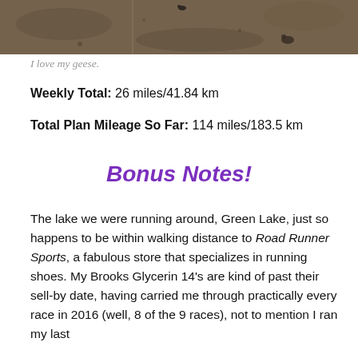[Figure (photo): Aerial or distant view of geese on a sandy or muddy ground surface]
I love my geese.
Weekly Total:  26 miles/41.84 km
Total Plan Mileage So Far:  114 miles/183.5 km
Bonus Notes!
The lake we were running around, Green Lake, just so happens to be within walking distance to Road Runner Sports, a fabulous store that specializes in running shoes.  My Brooks Glycerin 14's are kind of past their sell-by date, having carried me through practically every race in 2016 (well, 8 of the 9 races), not to mention I ran my last